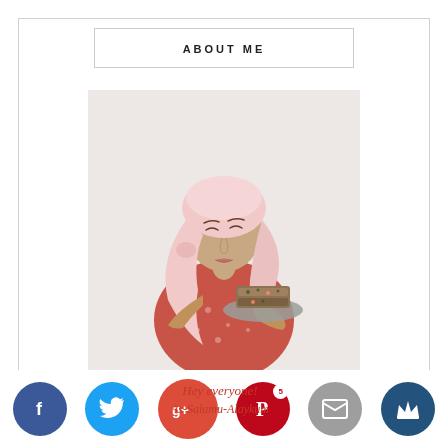ABOUT ME
[Figure (photo): A woman wearing a pink hijab and red floral dress, holding a plate of food up to her nose and smelling it. The photo is taken against a white background.]
Hey everyone!
As-Salamu-Alaykum